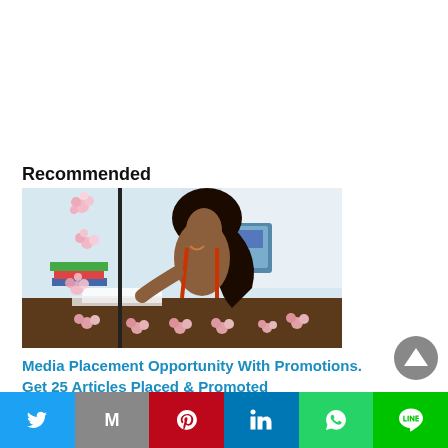Recommended
[Figure (photo): Young woman smiling, sitting at a desk with a laptop, viewed from behind/side, wearing a red polka dot top, with decorative cherry blossom overlay]
Media Placement Opportunity With Promotions. Get 25 Articles Placed & Promoted
[Figure (infographic): Social sharing bar with icons: Twitter (blue), Gmail (grey), Pinterest (red), LinkedIn (blue), WhatsApp (green), Line (green)]